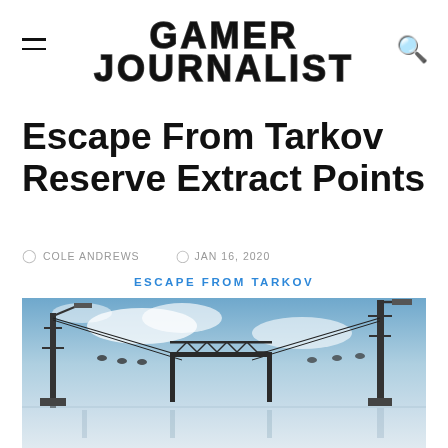GAMER JOURNALIST
Escape From Tarkov Reserve Extract Points
COLE ANDREWS   JAN 16, 2020
ESCAPE FROM TARKOV
[Figure (photo): In-game screenshot from Escape From Tarkov showing industrial structures, tall tower with floodlights, and a large overhead gantry/crane structure against a blue cloudy sky. The bottom portion shows a blurred/reflected industrial ground area.]